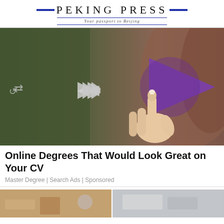PEKING PRESS — Your passport to Beijing
[Figure (photo): Woman's hand pressing a purple play button on a virtual media player interface with rewind, fast-forward, and share icons on a blurred background]
Online Degrees That Would Look Great on Your CV
Master Degree | Search Ads | Sponsored
[Figure (photo): Two thumbnail images partially visible at the bottom of the page]